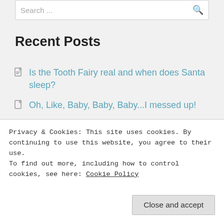Search ...
Recent Posts
Is the Tooth Fairy real and when does Santa sleep?
Oh, Like, Baby, Baby, Baby...I messed up!
Idahoan King Of Soup
Gas + Motor Oil = True Love?
I brought Dick's to a circumcision protest!
Privacy & Cookies: This site uses cookies. By continuing to use this website, you agree to their use. To find out more, including how to control cookies, see here: Cookie Policy
Close and accept